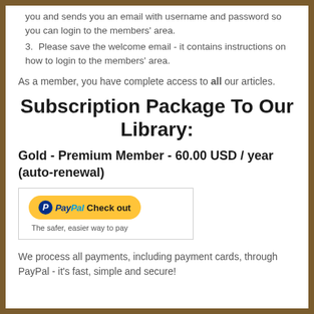you and sends you an email with username and password so you can login to the members' area.
3. Please save the welcome email - it contains instructions on how to login to the members' area.
As a member, you have complete access to all our articles.
Subscription Package To Our Library:
Gold - Premium Member - 60.00 USD / year (auto-renewal)
[Figure (other): PayPal Check out button with tagline 'The safer, easier way to pay']
We process all payments, including payment cards, through PayPal - it's fast, simple and secure!